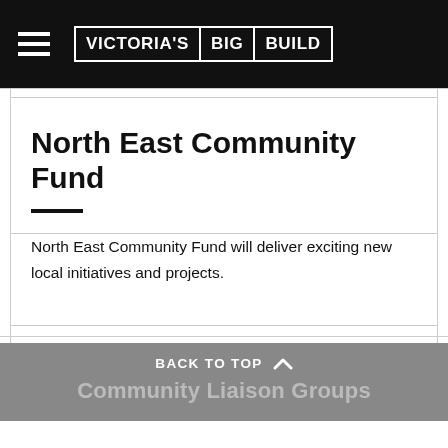VICTORIA'S BIG BUILD
North East Community Fund
North East Community Fund will deliver exciting new local initiatives and projects.
BACK TO TOP  Community Liaison Groups